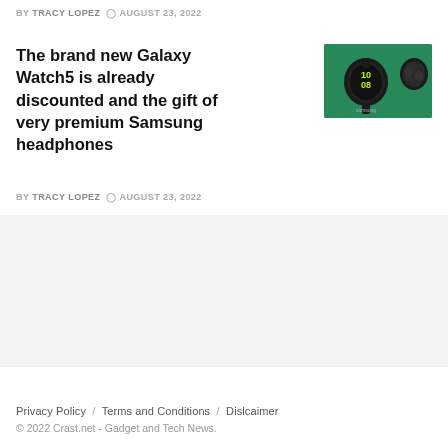BY TRACY LOPEZ  © AUGUST 23, 2022
The brand new Galaxy Watch5 is already discounted and the gift of very premium Samsung headphones
[Figure (photo): Samsung Galaxy Watch5 on green background with earbuds]
BY TRACY LOPEZ  © AUGUST 23, 2022
Privacy Policy  /  Terms and Conditions  /  Dislcaimer
© 2022 Crast.net - Gadget and Tech News.